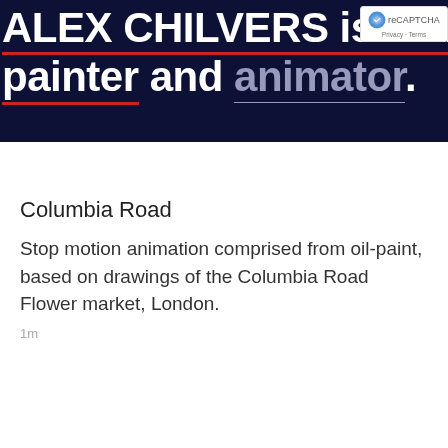[Figure (screenshot): Dark navy hero banner with large white bold text reading 'ALEX CHILVERS is an illustrator, painter and animator.' with red underlines under ALEX CHILVERS and painter, and muted blue-gray color on 'animator'. A reCAPTCHA badge appears in the top right corner.]
Columbia Road
Stop motion animation comprised from oil-paint, based on drawings of the Columbia Road Flower market, London.
1m